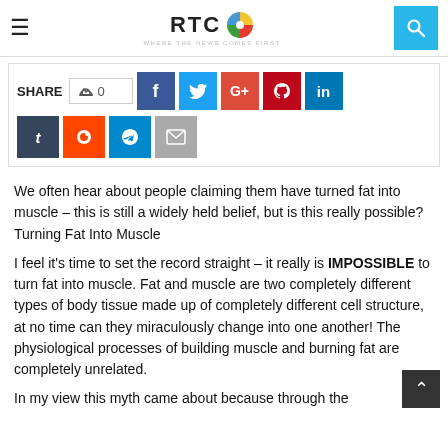RTC — WHERE THE NEWS COMES FIRST
[Figure (screenshot): Social media share buttons row: like (0), Facebook, Twitter, Google+, Pinterest, LinkedIn, Tumblr, Reddit, Telegram, Email]
We often hear about people claiming them have turned fat into muscle – this is still a widely held belief, but is this really possible? Turning Fat Into Muscle
I feel it's time to set the record straight – it really is IMPOSSIBLE to turn fat into muscle. Fat and muscle are two completely different types of body tissue made up of completely different cell structure, at no time can they miraculously change into one another! The physiological processes of building muscle and burning fat are completely unrelated.
In my view this myth came about because through the